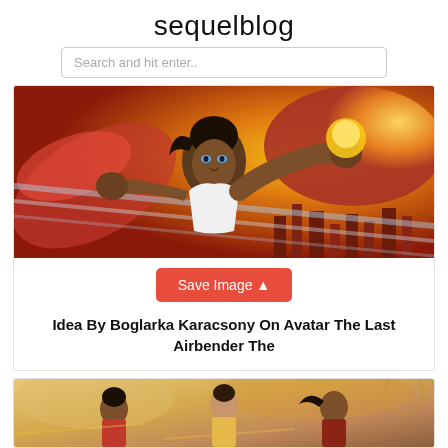sequelblog
Search and hit enter..
[Figure (illustration): Anime-style illustration of Avatar Korra in action pose with fire and energy effects in background]
Save Image
Idea By Boglarka Karacsony On Avatar The Last Airbender The
[Figure (illustration): Anime-style illustration of multiple Avatar characters in action poses with warm golden/orange background]